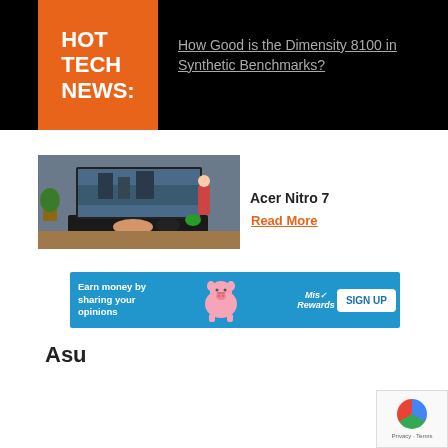HOT TECH NEWS:
How Good is the Dimensity 8100 in Synthetic Benchmarks?
[Figure (photo): Acer Nitro 7 gaming laptop on a desk with a game displayed on screen, plant and gaming figurines in background]
Acer Nitro 7
Read More
[Figure (infographic): Advertisement banner: Earn money by sharing your opinions - Mis Rewards - SIGN UP button]
Asu